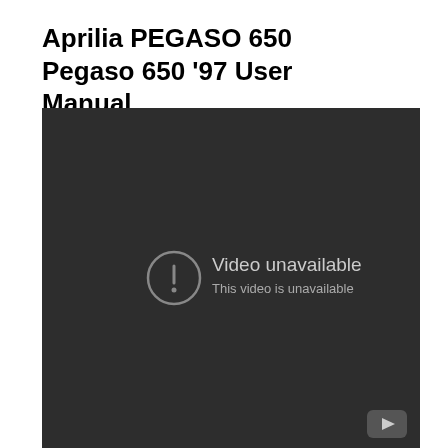Aprilia PEGASO 650 Pegaso 650 '97 User Manual
[Figure (screenshot): Embedded YouTube video player showing 'Video unavailable / This video is unavailable' error message on a dark background, with a YouTube play button icon in the bottom-right corner.]